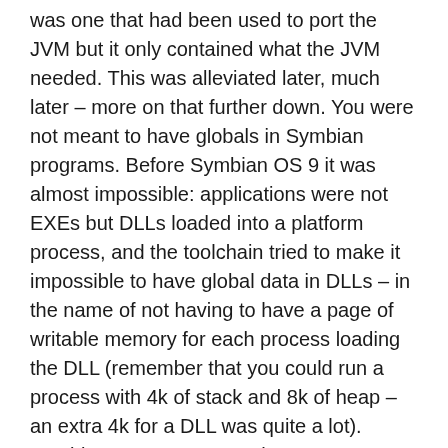was one that had been used to port the JVM but it only contained what the JVM needed. This was alleviated later, much later – more on that further down. You were not meant to have globals in Symbian programs. Before Symbian OS 9 it was almost impossible: applications were not EXEs but DLLs loaded into a platform process, and the toolchain tried to make it impossible to have global data in DLLs – in the name of not having to have a page of writable memory for each process loading the DLL (remember that you could run a process with 4k of stack and 8k of heap – an extra 4k for a DLL was quite a lot). Symbian APIs were asynchronous, as a rule and you were not meant to use extra threads (again, to save the 4k of stack you'd need for a thread). Some async APIs you could explicitly wait on to mimic synchronous calls but some you couldn't. Since documentation assumed you weren't using threads, it didn't tell you which APIs were thread-